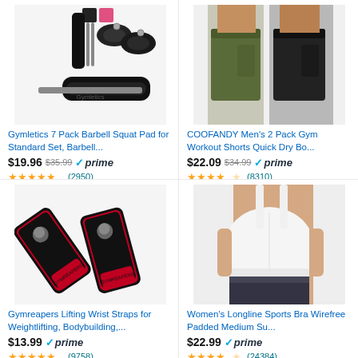[Figure (photo): Gymletics 7 Pack Barbell Squat Pad gym accessories set product photo]
Gymletics 7 Pack Barbell Squat Pad for Standard Set, Barbell...
$19.96  $35.99  prime  ★★★★★ (2950)
[Figure (photo): COOFANDY Men's 2 Pack Gym Workout Shorts product photo showing two men]
COOFANDY Men's 2 Pack Gym Workout Shorts Quick Dry Bo...
$22.09  $34.99  prime  ★★★★☆ (8310)
[Figure (photo): Gymreapers Lifting Wrist Straps product photo]
Gymreapers Lifting Wrist Straps for Weightlifting, Bodybuilding,...
$13.99  prime  ★★★★★ (9758)
[Figure (photo): Women's Longline Sports Bra product photo showing woman in white sports bra]
Women's Longline Sports Bra Wirefree Padded Medium Su...
$22.99  prime  ★★★★☆ (24384)